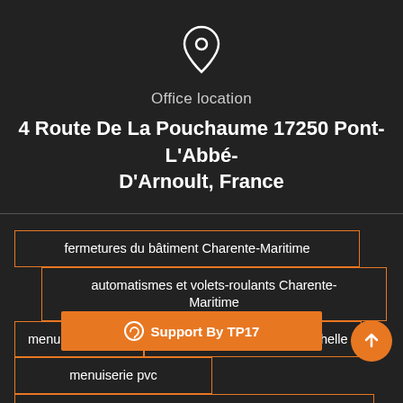[Figure (illustration): Location pin icon outline in white on dark background]
Office location
4 Route De La Pouchaume 17250 Pont-L'Abbé-D'Arnoult, France
fermetures du bâtiment Charente-Maritime
automatismes et volets-roulants Charente-Maritime
menuiserie alu 17
menuiserie aluminium la rochelle
menuiserie pvc
pose de fenêtres Charente-Maritime
Support By TP17